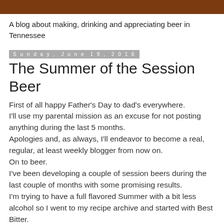A blog about making, drinking and appreciating beer in Tennessee
Sunday, June 19, 2016
The Summer of the Session Beer
First of all happy Father's Day to dad's everywhere. I'll use my parental mission as an excuse for not posting anything during the last 5 months. Apologies and, as always, I'll endeavor to become a real, regular, at least weekly blogger from now on. On to beer. I've been developing a couple of session beers during the last couple of months with some promising results. I'm trying to have a full flavored Summer with a bit less alcohol so I went to my recipe archive and started with Best Bitter. I make this beer well and I love it but I decided to trim it down to an Ordinary Bitter profile.  Specifically, I wanted the new